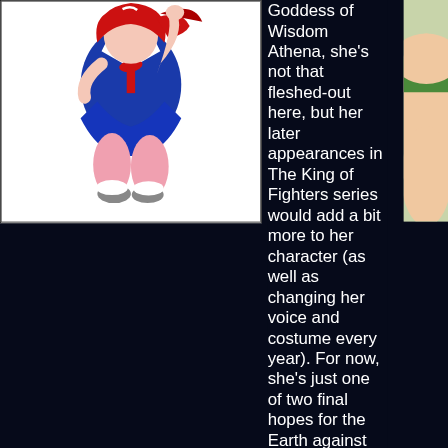[Figure (illustration): Anime-style illustration of a female character in a blue sailor-style school uniform with red bow and red hair, crouching/jumping pose, showing pink stockings and shoes.]
Goddess of Wisdom Athena, she's not that fleshed-out here, but her later appearances in The King of Fighters series would add a bit more to her character (as well as changing her voice and costume every year). For now, she's just one of two final hopes for the Earth against the evil Shiguma hordes. Putting the fate of the
[Figure (illustration): Partial view of another anime-style character in green shorts on the right edge of the page.]